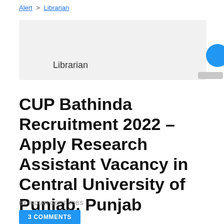Alert > Librarian
Librarian
CUP Bathinda Recruitment 2022 – Apply Research Assistant Vacancy in Central University of Punjab, Punjab
BY INDIAN GOVT JOBS
3 COMMENTS